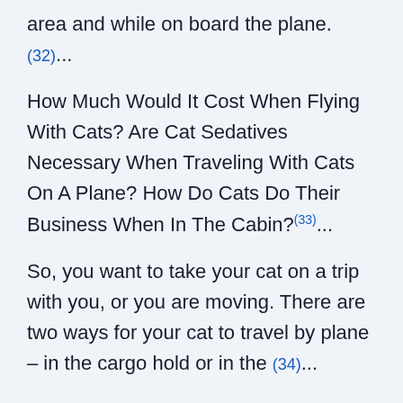area and while on board the plane. (32)...
How Much Would It Cost When Flying With Cats? Are Cat Sedatives Necessary When Traveling With Cats On A Plane? How Do Cats Do Their Business When In The Cabin?(33)...
So, you want to take your cat on a trip with you, or you are moving. There are two ways for your cat to travel by plane – in the cargo hold or in the (34)...